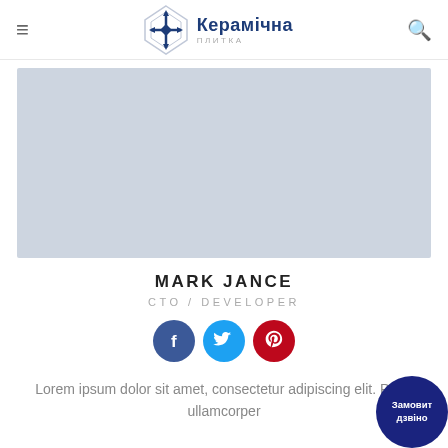Керамічна (logo / navigation bar)
[Figure (photo): Large light gray rectangular placeholder image area below the navigation bar]
MARK JANCE
CTO / DEVELOPER
[Figure (infographic): Three social media icon circles: Facebook (dark blue), Twitter (light blue), Pinterest (red)]
Lorem ipsum dolor sit amet, consectetur adipiscing elit. Proin ullamcorper